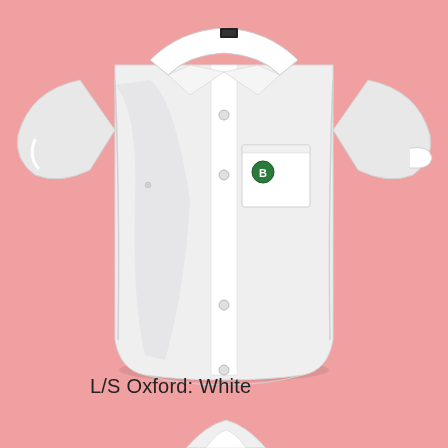[Figure (photo): A white short-sleeve Oxford button-down shirt with a breast pocket featuring a green circular logo with the letter B, displayed flat on a pink background.]
L/S Oxford: White
[Figure (photo): Partial view of another white Oxford shirt item at the bottom of the page, only the collar/top portion visible.]